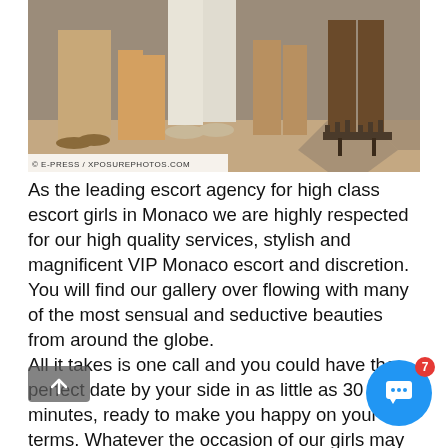[Figure (photo): Photo showing the lower legs and feet of several people standing on a stage or platform, wearing various shoes and sandals. Watermark reads: © E-PRESS / XPOSUREPHOTOS.COM]
As the leading escort agency for high class escort girls in Monaco we are highly respected for our high quality services, stylish and magnificent VIP Monaco escort and discretion. You will find our gallery over flowing with many of the most sensual and seductive beauties from around the globe.
All it takes is one call and you could have the perfect date by your side in as little as 30 minutes, ready to make you happy on your terms. Whatever the occasion of our girls may be or whatever turns you to find the ideal high class companion from our incredible high class selection of VIP escort girls in Monaco. Visit our gal... discover the most amazing Monaco escort girls in Monte